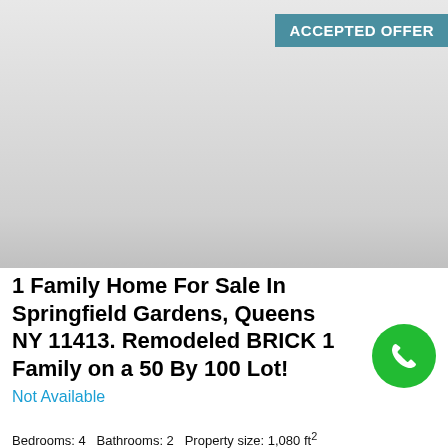[Figure (photo): Property photo placeholder area - light gray background]
ACCEPTED OFFER
1 Family Home For Sale In Springfield Gardens, Queens NY 11413. Remodeled BRICK 1 Family on a 50 By 100 Lot!
Not Available
Bedrooms: 4   Bathrooms: 2   Property size: 1,080 ft²